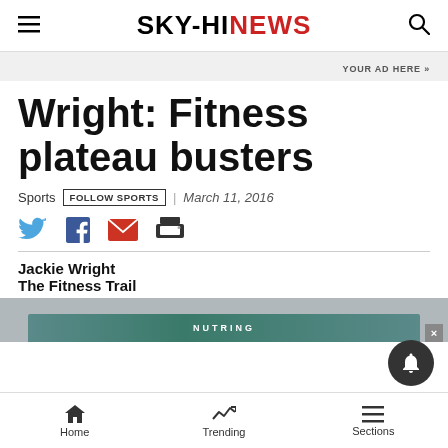SKY-HI NEWS
YOUR AD HERE »
Wright: Fitness plateau busters
Sports | FOLLOW SPORTS | March 11, 2016
[Figure (infographic): Social share icons: Twitter, Facebook, Email, Print]
Jackie Wright
The Fitness Trail
Home | Trending | Sections